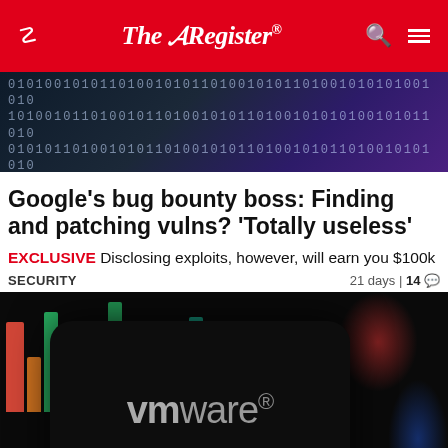The Register
[Figure (photo): Binary code background image with 0s and 1s on a dark curved surface]
Google's bug bounty boss: Finding and patching vulns? 'Totally useless'
EXCLUSIVE Disclosing exploits, however, will earn you $100k
SECURITY  21 days | 14 comments
[Figure (photo): VMware logo on a smartphone screen with colorful data visualization bars in the background]